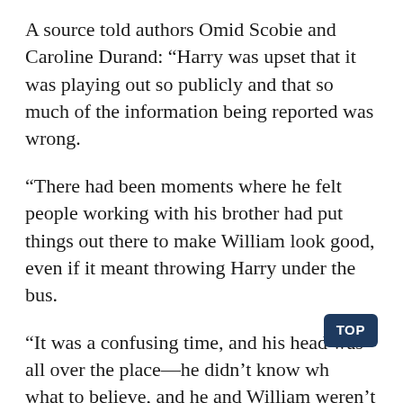A source told authors Omid Scobie and Caroline Durand: “Harry was upset that it was playing out so publicly and that so much of the information being reported was wrong.
“There had been moments where he felt people working with his brother had put things out there to make William look good, even if it meant throwing Harry under the bus.
“It was a confusing time, and his head was all over the place—he didn’t know wh… what to believe, and he and William weren’t talking enough either, which made